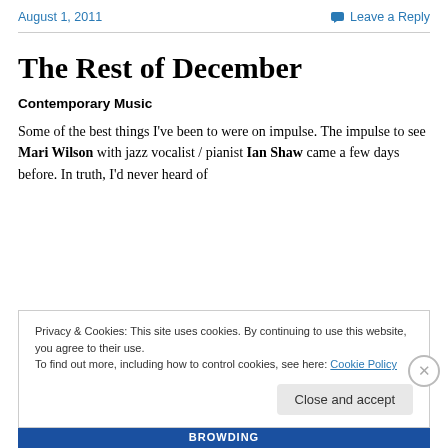August 1, 2011   Leave a Reply
The Rest of December
Contemporary Music
Some of the best things I've been to were on impulse. The impulse to see Mari Wilson with jazz vocalist / pianist Ian Shaw came a few days before. In truth, I'd never heard of
Privacy & Cookies: This site uses cookies. By continuing to use this website, you agree to their use.
To find out more, including how to control cookies, see here: Cookie Policy